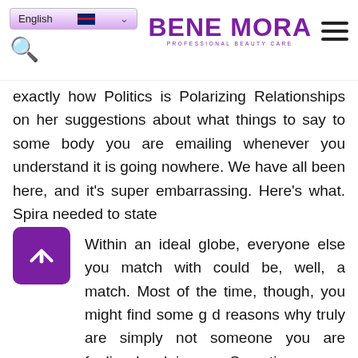BENE MORA — English language selector, search icon, hamburger menu
exactly how Politics is Polarizing Relationships on her suggestions about what things to say to some body you are emailing whenever you understand it is going nowhere. We have all been here, and it's super embarrassing. Here's what Spira needed to state.
Within an ideal globe, everyone else you match with could be, well, a match. Most of the time, though, you might find some g d reasons why truly are simply not someone you are feeling by doing so. Sometimes once you